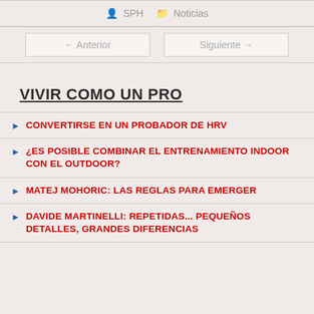SPH  Noticias
← Anterior   Siguiente →
VIVIR COMO UN PRO
CONVERTIRSE EN UN PROBADOR DE HRV
¿ES POSIBLE COMBINAR EL ENTRENAMIENTO INDOOR CON EL OUTDOOR?
MATEJ MOHORIC: LAS REGLAS PARA EMERGER
DAVIDE MARTINELLI: REPETIDAS... PEQUEÑOS DETALLES, GRANDES DIFERENCIAS